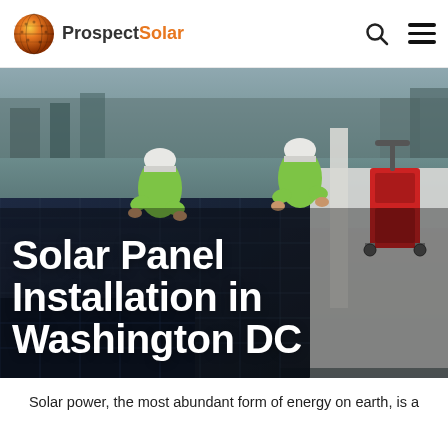ProspectSolar
[Figure (photo): Two workers in yellow high-vis vests and white hard hats installing solar panels on a large commercial rooftop with a city skyline in the background. A red equipment cart is visible to the right.]
Solar Panel Installation in Washington DC
Solar power, the most abundant form of energy on earth, is a